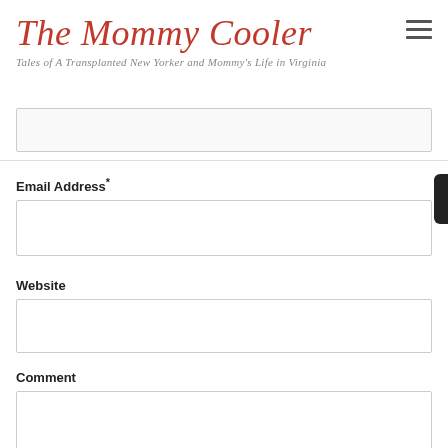The Mommy Cooler
Tales of A Transplanted New Yorker and Mommy's Life in Virginia
Email Address*
Website
Comment